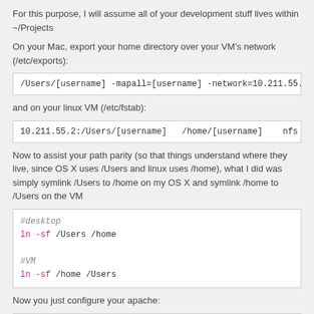For this purpose, I will assume all of your development stuff lives within ~/Projects
On your Mac, export your home directory over your VM's network (/etc/exports):
/Users/[username] -mapall=[username] -network=10.211.55.0
and on your linux VM (/etc/fstab):
10.211.55.2:/Users/[username]   /home/[username]    nfs
Now to assist your path parity (so that things understand where they live, since OS X uses /Users and linux uses /home), what I did was simply symlink /Users to /home on my OS X and symlink /home to /Users on the VM
#desktop
ln -sf /Users /home

#VM
ln -sf /home /Users
Now you just configure your apache: